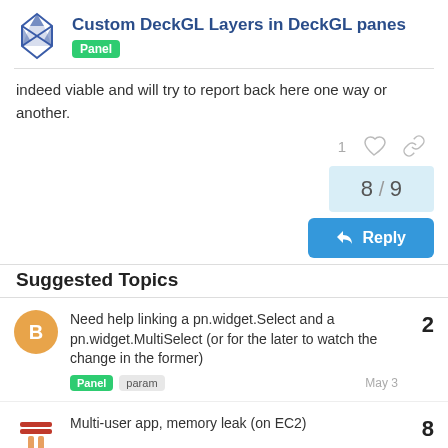Custom DeckGL Layers in DeckGL panes | Panel
indeed viable and will try to report back here one way or another.
8 / 9
Reply
Suggested Topics
Need help linking a pn.widget.Select and a pn.widget.MultiSelect (or for the later to watch the change in the former) | Panel | param | May 3 | 2
Multi-user app, memory leak (on EC2) | 8